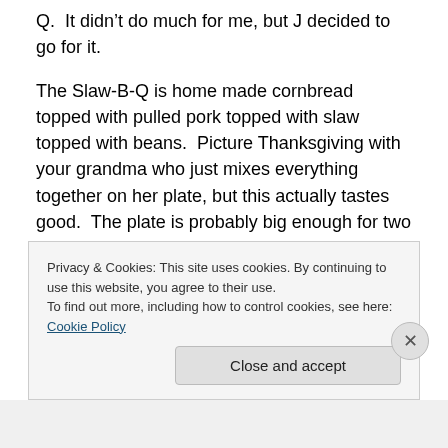Q.  It didn't do much for me, but J decided to go for it.
The Slaw-B-Q is home made cornbread topped with pulled pork topped with slaw topped with beans.  Picture Thanksgiving with your grandma who just mixes everything together on her plate, but this actually tastes good.  The plate is probably big enough for two people as the bottom layer of corner bread is quite tall.  The pulled pork seems to be Smokin D's signature and it was quite delicious.  It was tender, juicy, and tasted like there was just a little bit of BBQ sauce clinging to the smoked meat.
Privacy & Cookies: This site uses cookies. By continuing to use this website, you agree to their use.
To find out more, including how to control cookies, see here: Cookie Policy
Close and accept